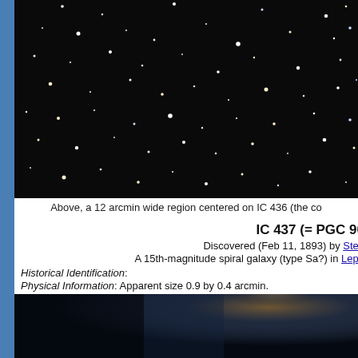[Figure (photo): A wide star field image, 12 arcmin wide region centered on IC 436, showing many stars and galaxies against a dark background.]
Above, a 12 arcmin wide region centered on IC 436 (the co...
IC 437 (= PGC 90...
Discovered (Feb 11, 1893) by Step...
A 15th-magnitude spiral galaxy (type Sa?) in Lepu...
Historical Identification:
Physical Information: Apparent size 0.9 by 0.4 arcmin.
[Figure (photo): A blurry close-up image of a galaxy region with dark and slightly colored background.]